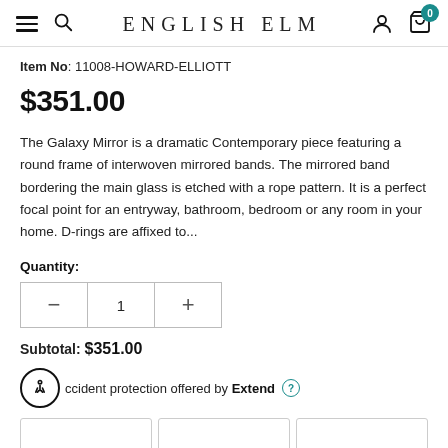ENGLISH ELM
Item No: 11008-HOWARD-ELLIOTT
$351.00
The Galaxy Mirror is a dramatic Contemporary piece featuring a round frame of interwoven mirrored bands. The mirrored band bordering the main glass is etched with a rope pattern. It is a perfect focal point for an entryway, bathroom, bedroom or any room in your home. D-rings are affixed to...
Quantity:
Subtotal: $351.00
Accident protection offered by Extend